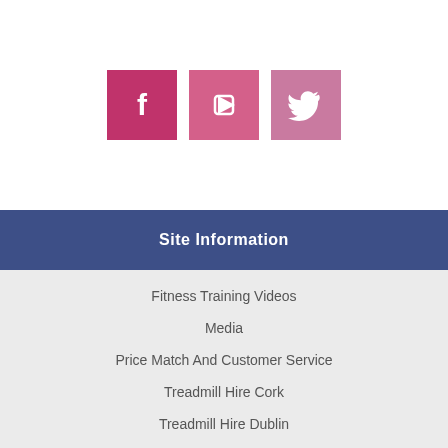[Figure (illustration): Three social media icon buttons: Facebook (dark pink), YouTube (medium pink), and Twitter (light pink), each with a white icon on a colored square background.]
Site Information
Fitness Training Videos
Media
Price Match And Customer Service
Treadmill Hire Cork
Treadmill Hire Dublin
Hire Fitness uses cookies to make the site simpler.
OK, I understand